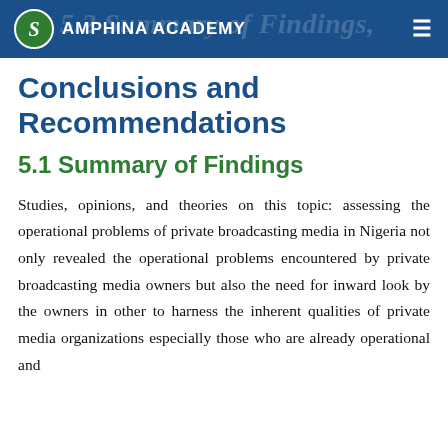AMPHINA ACADEMY
Summary of Findings, Conclusions and Recommendations
5.1 Summary of Findings
Studies, opinions, and theories on this topic: assessing the operational problems of private broadcasting media in Nigeria not only revealed the operational problems encountered by private broadcasting media owners but also the need for inward look by the owners in other to harness the inherent qualities of private media organizations especially those who are already operational and established, which will inevitably come to...